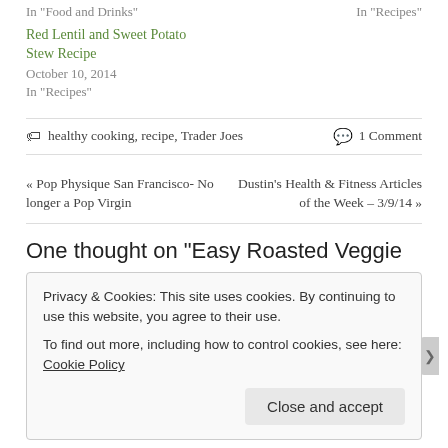In "Food and Drinks"
In "Recipes"
Red Lentil and Sweet Potato Stew Recipe
October 10, 2014
In "Recipes"
healthy cooking, recipe, Trader Joes   1 Comment
« Pop Physique San Francisco- No longer a Pop Virgin   Dustin's Health & Fitness Articles of the Week – 3/9/14 »
One thought on "Easy Roasted Veggie
Privacy & Cookies: This site uses cookies. By continuing to use this website, you agree to their use.
To find out more, including how to control cookies, see here: Cookie Policy
Close and accept